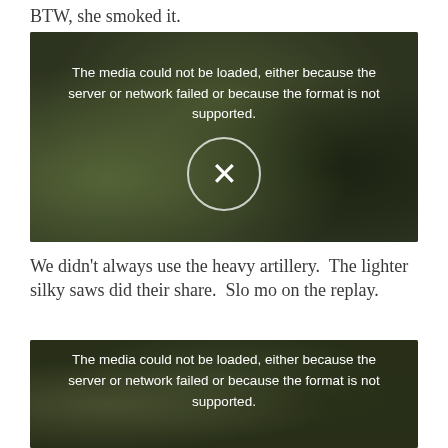BTW, she smoked it.
[Figure (screenshot): Video player showing error message: 'The media could not be loaded, either because the server or network failed or because the format is not supported.' with an X icon in a circle overlay on a dark outdoor/forest background image.]
We didn't always use the heavy artillery.  The lighter silky saws did their share.  Slo mo on the replay.
[Figure (screenshot): Second video player showing same error message: 'The media could not be loaded, either because the server or network failed or because the format is not supported.' on a dark outdoor background image.]